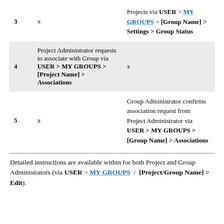| # | Left Column | Right Column |
| --- | --- | --- |
| 3 | x | Projects via USER > MY GROUPS > [Group Name] > Settings > Group Status |
| 4 | Project Administrator requests to associate with Group via USER > MY GROUPS > [Project Name] > Associations | x |
| 5 | x | Group Administrator confirms association request from Project Administrator via USER > MY GROUPS > [Group Name] > Associations |
Detailed instructions are available within for both Project and Group Administrators (via USER > MY GROUPS / [Project/Group Name] > Edit).